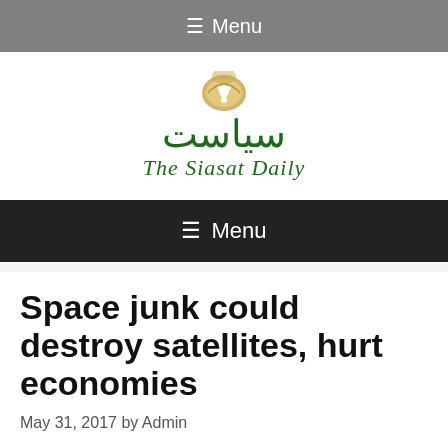≡ Menu
[Figure (logo): The Siasat Daily logo with bird emblem, Urdu text and English subtitle 'The Siasat Daily' in green]
≡ Menu
Space junk could destroy satellites, hurt economies
May 31, 2017 by Admin